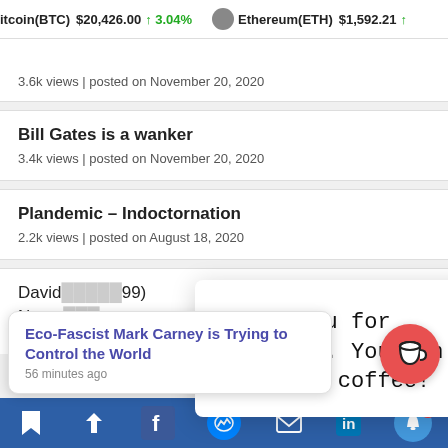itcoin(BTC) $20,426.00 ↑ 3.04% | Ethereum(ETH) $1,592.21 ↑
3.6k views | posted on November 20, 2020
Bill Gates is a wanker
3.4k views | posted on November 20, 2020
Plandemic – Indoctornation
2.2k views | posted on August 18, 2020
Thank you for visiting. You can now buy me a coffee!
David ... 99)
Noma...
2.2k views | posted on November 29, 2021
Eco-Fascist Mark Carney is Trying to Control the World
56 minutes ago